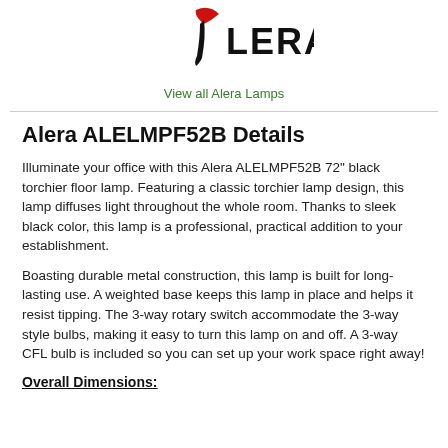[Figure (logo): Alera brand logo with stylized bird/wing mark in red and black, followed by bold text 'ALERA.']
View all Alera Lamps
Alera ALELMPF52B Details
Illuminate your office with this Alera ALELMPF52B 72" black torchier floor lamp. Featuring a classic torchier lamp design, this lamp diffuses light throughout the whole room. Thanks to sleek black color, this lamp is a professional, practical addition to your establishment.
Boasting durable metal construction, this lamp is built for long-lasting use. A weighted base keeps this lamp in place and helps it resist tipping. The 3-way rotary switch accommodate the 3-way style bulbs, making it easy to turn this lamp on and off. A 3-way CFL bulb is included so you can set up your work space right away!
Overall Dimensions: